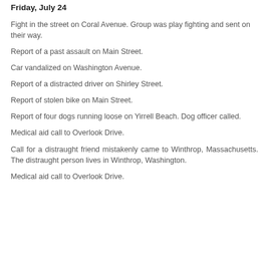Friday, July 24
Fight in the street on Coral Avenue. Group was play fighting and sent on their way.
Report of a past assault on Main Street.
Car vandalized on Washington Avenue.
Report of a distracted driver on Shirley Street.
Report of stolen bike on Main Street.
Report of four dogs running loose on Yirrell Beach. Dog officer called.
Medical aid call to Overlook Drive.
Call for a distraught friend mistakenly came to Winthrop, Massachusetts. The distraught person lives in Winthrop, Washington.
Medical aid call to Overlook Drive.